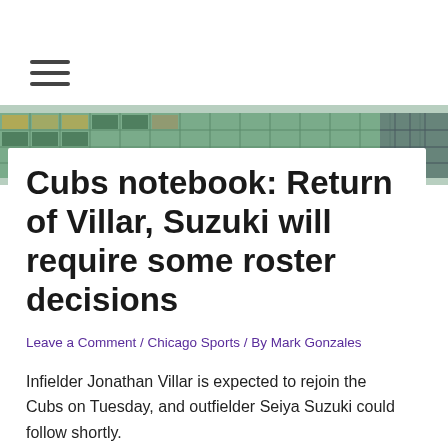[Figure (photo): Background header image showing a stadium or arena building exterior with teal/green glass facade]
Cubs notebook: Return of Villar, Suzuki will require some roster decisions
Leave a Comment / Chicago Sports / By Mark Gonzales
Infielder Jonathan Villar is expected to rejoin the Cubs on Tuesday, and outfielder Seiya Suzuki could follow shortly.
But making room for the twosome on the active roster presents a few intriguing scenarios.
Villar's switch-hitting ability and infield versatility could pinch a